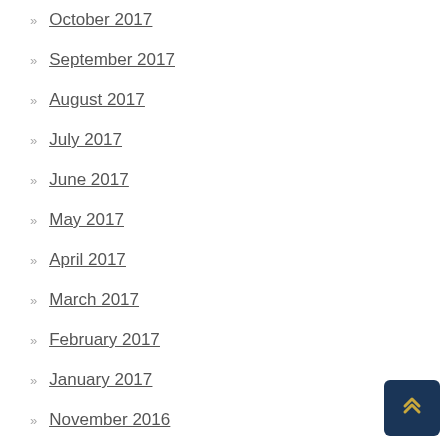October 2017
September 2017
August 2017
July 2017
June 2017
May 2017
April 2017
March 2017
February 2017
January 2017
November 2016
October 2016
September 2016